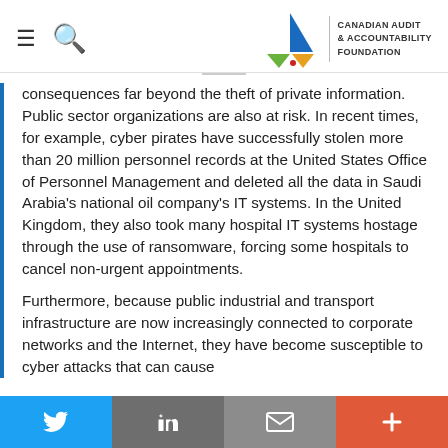Canadian Audit & Accountability Foundation
consequences far beyond the theft of private information. Public sector organizations are also at risk. In recent times, for example, cyber pirates have successfully stolen more than 20 million personnel records at the United States Office of Personnel Management and deleted all the data in Saudi Arabia's national oil company's IT systems. In the United Kingdom, they also took many hospital IT systems hostage through the use of ransomware, forcing some hospitals to cancel non-urgent appointments.
Furthermore, because public industrial and transport infrastructure are now increasingly connected to corporate networks and the Internet, they have become susceptible to cyber attacks that can cause
Twitter | LinkedIn | Email | More